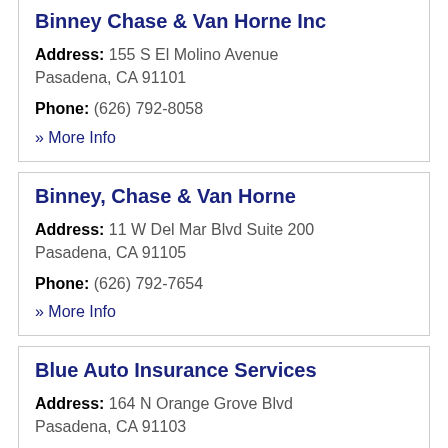Binney Chase & Van Horne Inc
Address: 155 S El Molino Avenue Pasadena, CA 91101
Phone: (626) 792-8058
» More Info
Binney, Chase & Van Horne
Address: 11 W Del Mar Blvd Suite 200 Pasadena, CA 91105
Phone: (626) 792-7654
» More Info
Blue Auto Insurance Services
Address: 164 N Orange Grove Blvd Pasadena, CA 91103